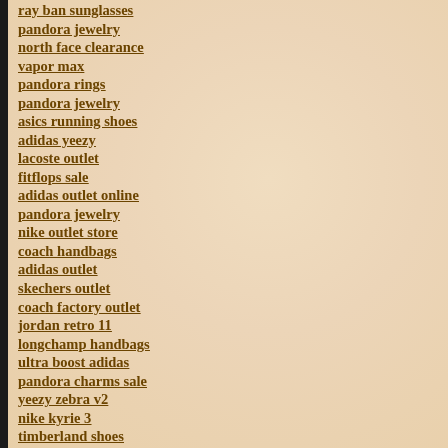ray ban sunglasses
pandora jewelry
north face clearance
vapor max
pandora rings
pandora jewelry
asics running shoes
adidas yeezy
lacoste outlet
fitflops sale
adidas outlet online
pandora jewelry
nike outlet store
coach handbags
adidas outlet
skechers outlet
coach factory outlet
jordan retro 11
longchamp handbags
ultra boost adidas
pandora charms sale
yeezy zebra v2
nike kyrie 3
timberland shoes
michael kors handbags
nike outlet store
yeezy boost 350